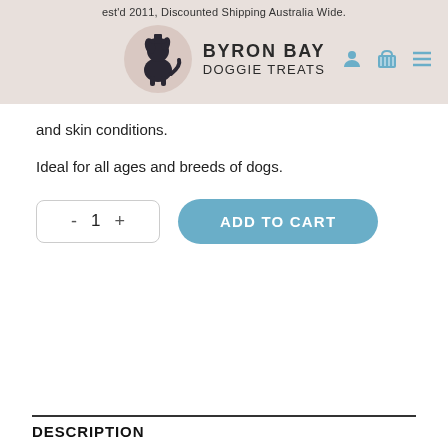est'd 2011, Discounted Shipping Australia Wide.
[Figure (logo): Byron Bay Doggie Treats logo — circular pink background with silhouette of sitting dog, text 'BYRON BAY DOGGIE TREATS' beside it, user/cart/menu icons to the right]
and skin conditions.
Ideal for all ages and breeds of dogs.
DESCRIPTION